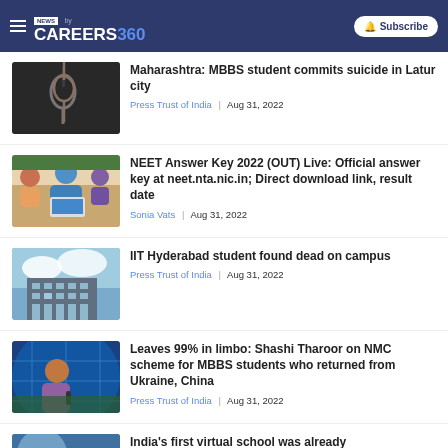NEWS by CAREERS360 | Subscribe
[Figure (photo): Image of a noose hanging against dark background]
Maharashtra: MBBS student commits suicide in Latur city
Press Trust of India | Aug 31, 2022
[Figure (photo): Students working together on a laptop]
NEET Answer Key 2022 (OUT) Live: Official answer key at neet.nta.nic.in; Direct download link, result date
Sonia Vats | Aug 31, 2022
[Figure (photo): IIT Hyderabad campus building against cloudy sky]
IIT Hyderabad student found dead on campus
Press Trust of India | Aug 31, 2022
[Figure (photo): Person speaking at a public event with colourful background]
Leaves 99% in limbo: Shashi Tharoor on NMC scheme for MBBS students who returned from Ukraine, China
Press Trust of India | Aug 31, 2022
[Figure (photo): Partial image - bottom of page]
India's first virtual school was already